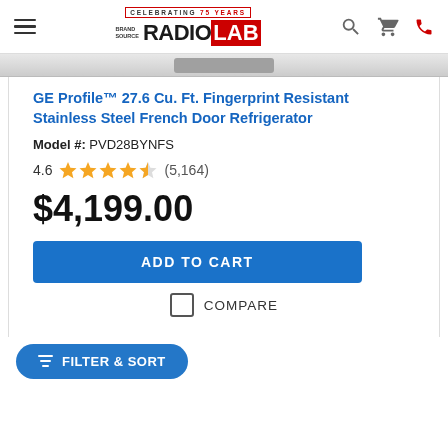Brand Source RadioLab — Celebrating 75 Years
GE Profile™ 27.6 Cu. Ft. Fingerprint Resistant Stainless Steel French Door Refrigerator
Model #: PVD28BYNFS
4.6 ★★★★½ (5,164)
$4,199.00
ADD TO CART
COMPARE
FILTER & SORT